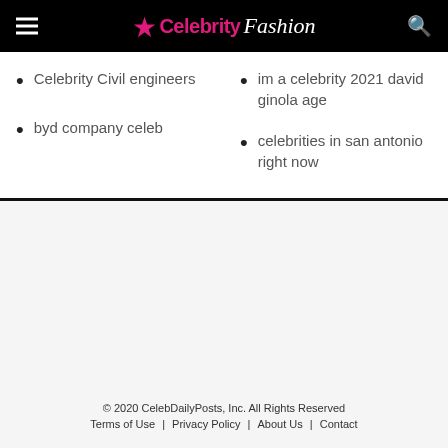Celebrity Fashion
Celebrity Civil engineers
im a celebrity 2021 david ginola age
byd company celeb
celebrities in san antonio right now
© 2020 CelebDailyPosts, Inc. All Rights Reserved  Terms of Use | Privacy Policy | About Us | Contact